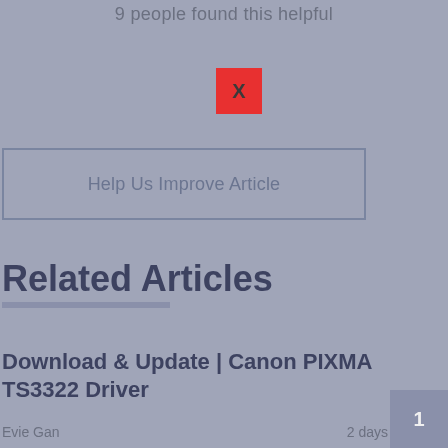9 people found this helpful
[Figure (screenshot): Red close button with X]
Help Us Improve Article
Related Articles
Download & Update | Canon PIXMA TS3322 Driver
Evie Gan
2 days